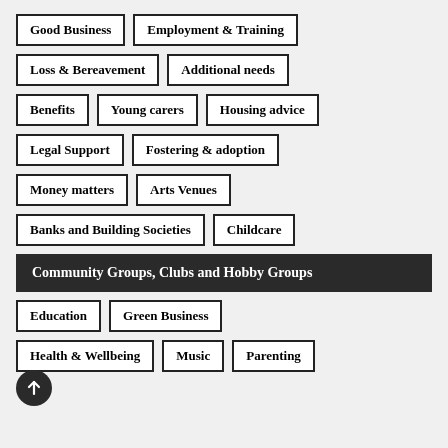Good Business
Employment & Training
Loss & Bereavement
Additional needs
Benefits
Young carers
Housing advice
Legal Support
Fostering & adoption
Money matters
Arts Venues
Banks and Building Societies
Childcare
Community Groups, Clubs and Hobby Groups
Education
Green Business
Health & Wellbeing
Music
Parenting